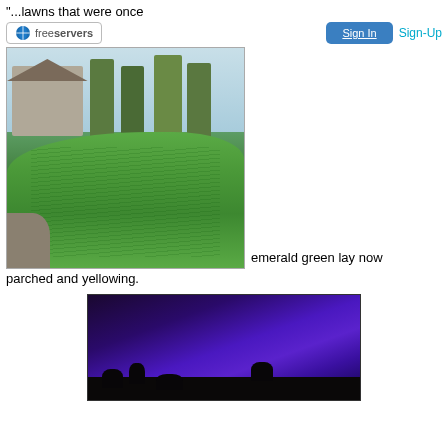"...lawns that were once
[Figure (logo): freeservers logo with blue globe icon]
[Figure (other): Sign In button (blue) and Sign-Up link]
[Figure (photo): Photograph of a green grass lawn in front of a house with trees in the background]
emerald green lay now parched and yellowing.
[Figure (photo): Night sky photograph showing deep blue/purple sky with dark silhouetted trees at the bottom]